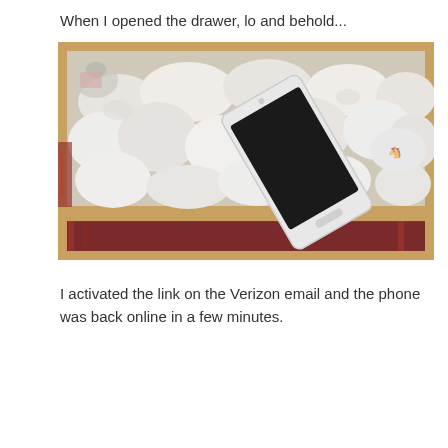When I opened the drawer, lo and behold...
[Figure (photo): A wooden drawer filled with many white socks, with a white Samsung smartphone propped up diagonally among the socks. The drawer sits on a red patterned rug visible below it.]
I activated the link on the Verizon email and the phone was back online in a few minutes.